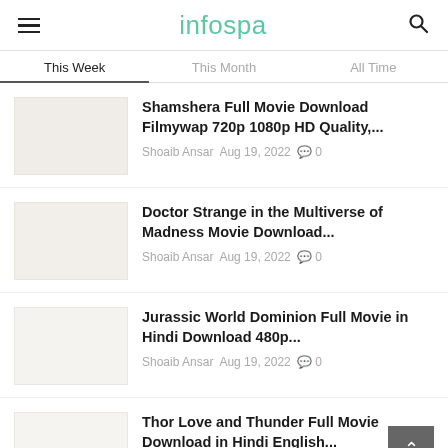infospa
This Week | This Month | All Time
Shamshera Full Movie Download Filmywap 720p 1080p HD Quality,...
Shoaib Ansar  Aug 19, 2022  0
Doctor Strange in the Multiverse of Madness Movie Download...
Shoaib Ansar  Aug 19, 2022  0
Jurassic World Dominion Full Movie in Hindi Download 480p...
Shoaib Ansar  Aug 19, 2022  0
Thor Love and Thunder Full Movie Download in Hindi English...